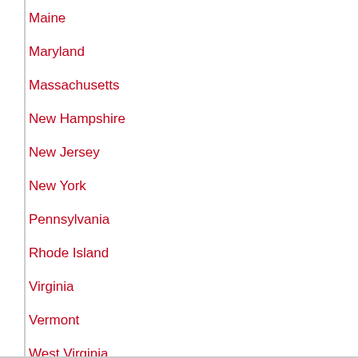Maine
Maryland
Massachusetts
New Hampshire
New Jersey
New York
Pennsylvania
Rhode Island
Virginia
Vermont
West Virginia